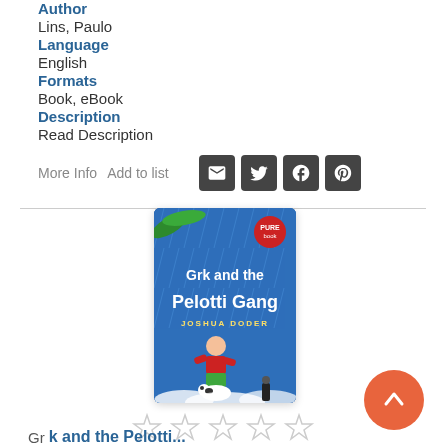Author
Lins, Paulo
Language
English
Formats
Book, eBook
Description
Read Description
More Info   Add to list
[Figure (illustration): Book cover of 'Grk and the Pelotti Gang' by Joshua Doder showing a cartoon boy in red shirt and green pants holding a dog on a blue rainy background with palm trees]
[Figure (other): Five empty star rating icons]
Grk and the Pelotti...